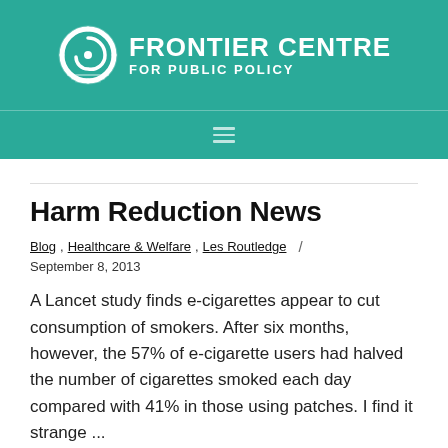FRONTIER CENTRE FOR PUBLIC POLICY
Harm Reduction News
Blog, Healthcare & Welfare, Les Routledge / September 8, 2013
A Lancet study finds e-cigarettes appear to cut consumption of smokers. After six months, however, the 57% of e-cigarette users had halved the number of cigarettes smoked each day compared with 41% in those using patches. I find it strange ...